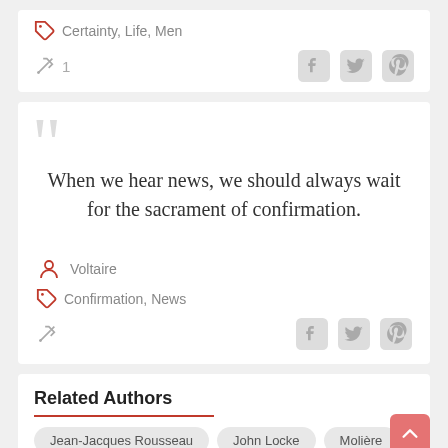Certainty, Life, Men
1
When we hear news, we should always wait for the sacrament of confirmation.
Voltaire
Confirmation, News
Related Authors
Jean-Jacques Rousseau, John Locke, Molière